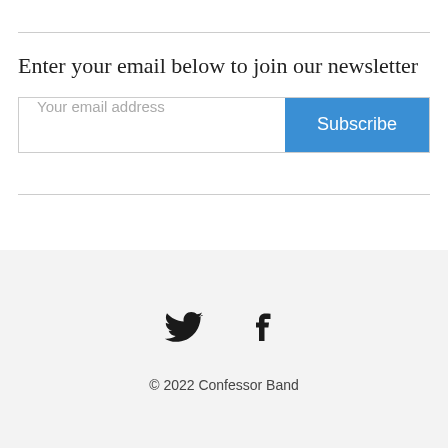Enter your email below to join our newsletter
Your email address
Subscribe
[Figure (illustration): Twitter bird icon and Facebook 'f' icon side by side]
© 2022 Confessor Band